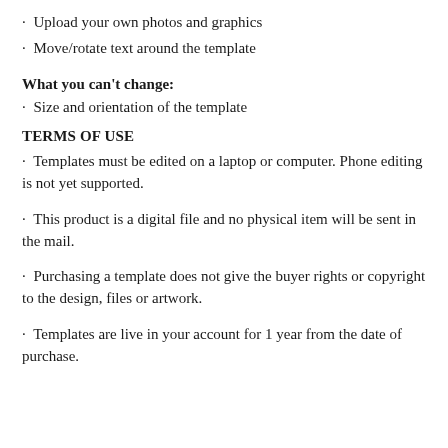Upload your own photos and graphics
Move/rotate text around the template
What you can't change:
Size and orientation of the template
TERMS OF USE
Templates must be edited on a laptop or computer. Phone editing is not yet supported.
This product is a digital file and no physical item will be sent in the mail.
Purchasing a template does not give the buyer rights or copyright to the design, files or artwork.
Templates are live in your account for 1 year from the date of purchase.